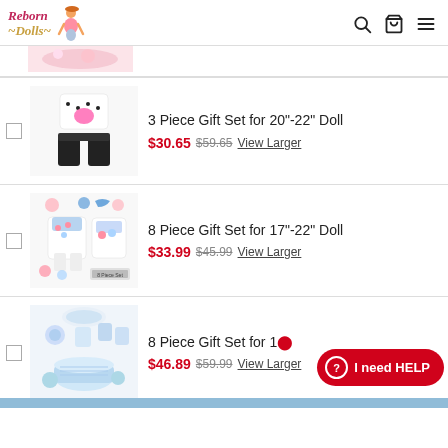Reborn Dolls
[Figure (screenshot): Partial product image at top - cut off pink/floral item]
3 Piece Gift Set for 20"-22" Doll $30.65 $59.65 View Larger
[Figure (photo): 3 Piece Gift Set for 20-22 inch doll - white top with pink bib and black pants]
8 Piece Gift Set for 17"-22" Doll $33.99 $45.99 View Larger
[Figure (photo): 8 Piece Gift Set for 17-22 inch doll - floral dress set with accessories]
8 Piece Gift Set for 1... $46.89 $59.99 View Larger
[Figure (photo): 8 Piece Gift Set - white/blue baby accessories set with basket]